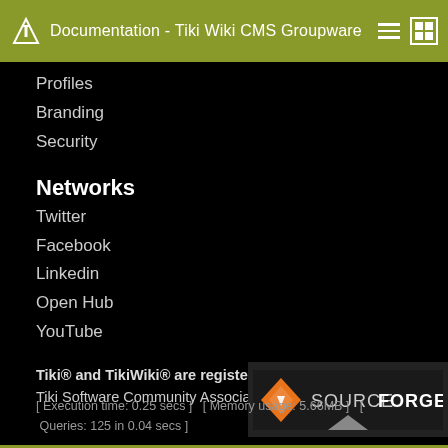Documentation - Tiki Wiki CMS Groupware
Profiles
Branding
Security
Networks
Twitter
Facebook
Linkedin
Open Hub
YouTube
Tiki® and TikiWiki® are registered trademarks of the Tiki Software Community Association.
[Figure (logo): SourceForge logo with orange diamond icon and white text on dark background]
[ Execution time: 0.25 secs ]  [ Memory usage: 5.66MB ]  [ Queries: 125 in 0.04 secs ]